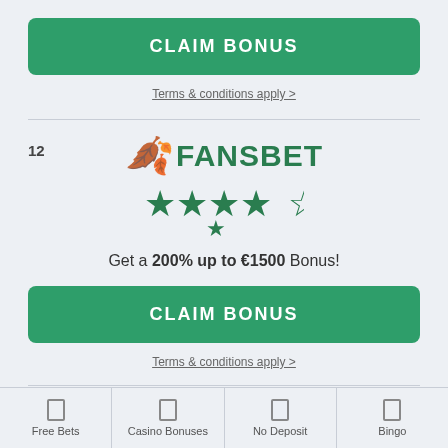[Figure (other): Green CLAIM BONUS button at top of page]
Terms & conditions apply >
12
[Figure (logo): FansBet logo with leaf/F icon in light green and FANSBET text in dark green, followed by 4.5 star rating]
Get a 200% up to €1500 Bonus!
[Figure (other): Green CLAIM BONUS button]
Terms & conditions apply >
Free Bets   Casino Bonuses   No Deposit   Bingo